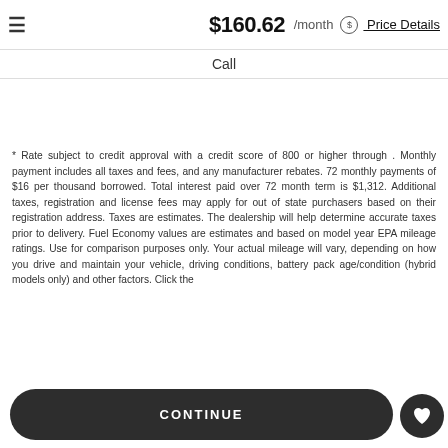$160.62 /month  Price Details
Call
* Rate subject to credit approval with a credit score of 800 or higher through . Monthly payment includes all taxes and fees, and any manufacturer rebates. 72 monthly payments of $16 per thousand borrowed. Total interest paid over 72 month term is $1,312. Additional taxes, registration and license fees may apply for out of state purchasers based on their registration address. Taxes are estimates. The dealership will help determine accurate taxes prior to delivery. Fuel Economy values are estimates and based on model year EPA mileage ratings. Use for comparison purposes only. Your actual mileage will vary, depending on how you drive and maintain your vehicle, driving conditions, battery pack age/condition (hybrid models only) and other factors. Click the
CONTINUE